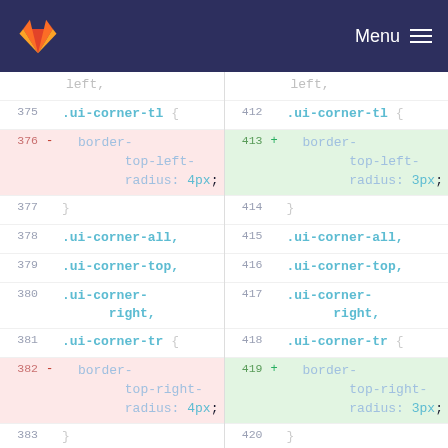GitLab Menu
[Figure (screenshot): A code diff view showing CSS changes in two columns. Left column shows old lines (375-386) with border-top-left-radius: 4px and border-top-right-radius: 4px (deleted, highlighted red). Right column shows new lines (412-423) with border-top-left-radius: 3px and border-top-right-radius: 3px (added, highlighted green).]